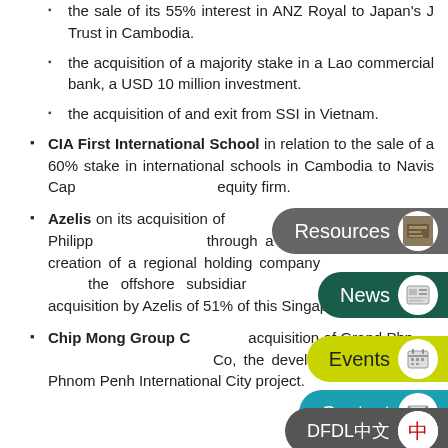the sale of its 55% interest in ANZ Royal to Japan's J Trust in Cambodia.
the acquisition of a majority stake in a Lao commercial bank, a USD 10 million investment.
the acquisition of and exit from SSI in Vietnam.
CIA First International School in relation to the sale of a 60% stake in international schools in Cambodia to Navis Capital, a leading private equity firm.
Azelis on its acquisition of distributors in Vietnam and the Philippines, structured through a structure involving the creation of a regional holding company in Singapore to hold the offshore subsidiaries in each country, and acquisition by Azelis of 51% of this Singapore entity.
Chip Mong Group Co on its acquisition of Grand Phnom Penh International City Co, the developer of the Grand Phnom Penh International City project.